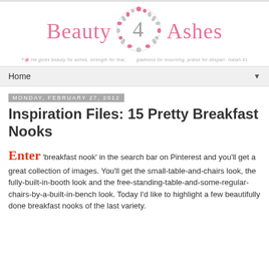[Figure (logo): Beauty 4 Ashes blog logo with floral wreath containing the number 4, with 'Beauty' on the left and 'Ashes' on the right in pink serif font, tagline below reading 'He gives beauty for ashes, strength for fear, gladness for mourning, praise for despair. Isaiah 61']
Home ▼
Monday, February 27, 2012
Inspiration Files: 15 Pretty Breakfast Nooks
Enter 'breakfast nook' in the search bar on Pinterest and you'll get a great collection of images. You'll get the small-table-and-chairs look, the fully-built-in-booth look and the free-standing-table-and-some-regular-chairs-by-a-built-in-bench look. Today I'd like to highlight a few beautifully done breakfast nooks of the last variety.